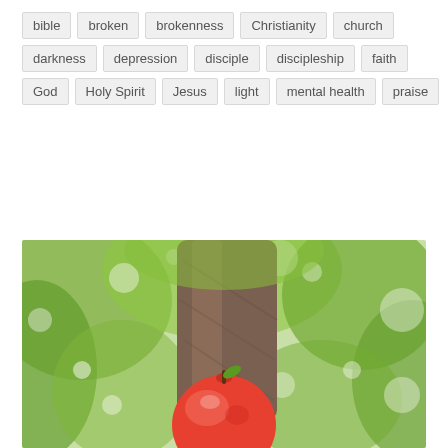bible
broken
brokenness
Christianity
church
darkness
depression
disciple
discipleship
faith
God
Holy Spirit
Jesus
light
mental health
praise
[Figure (photo): A red apple in the foreground with a large tree trunk and blurred green foliage in the background, bright bokeh light spots visible.]